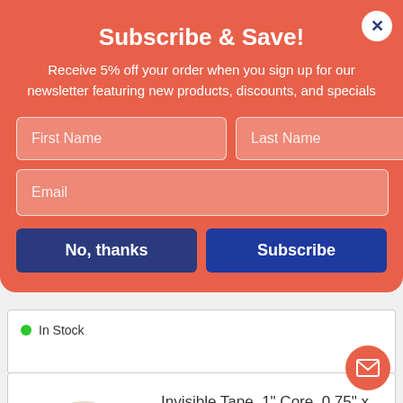Subscribe & Save!
Receive 5% off your order when you sign up for our newsletter featuring new products, discounts, and specials
First Name | Last Name | Email (form fields)
No, thanks | Subscribe (buttons)
In Stock
Invisible Tape, 1" Core, 0.75" x 36 yds, Clear
ITEM ID: UNV83436